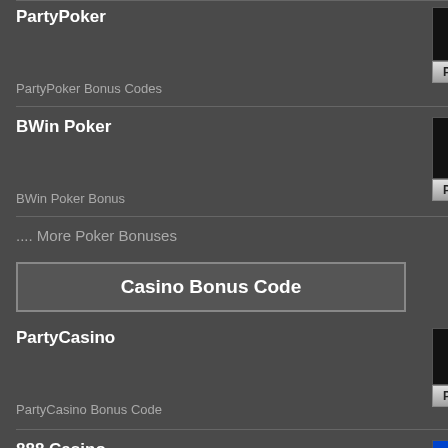PartyPoker
PartyPoker Bonus Codes
[Figure (logo): PartyPoker logo with 'FEEL IT' tagline and Play Now button]
BWin Poker
BWin Poker Bonus
[Figure (logo): BWin Poker logo and Play Now button]
.... More Poker Bonuses
Casino Bonus Code
PartyCasino
PartyCasino Bonus Code
[Figure (logo): PartyCasino logo and Play Now button]
888 Casino
888 Casino Bonus
[Figure (logo): 888 poker logo and Play Now button]
Bwin Casino
[Figure (logo): Bwin Casino logo]